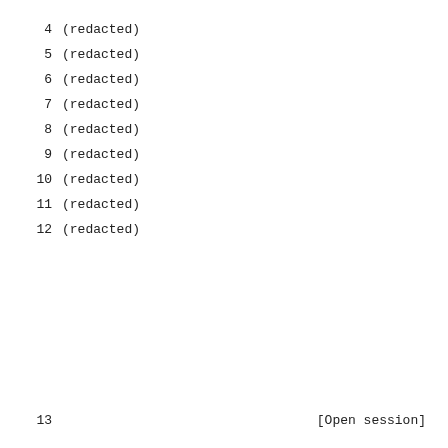4    (redacted)
5    (redacted)
6    (redacted)
7    (redacted)
8    (redacted)
9    (redacted)
10    (redacted)
11    (redacted)
12    (redacted)
13    [Open session]